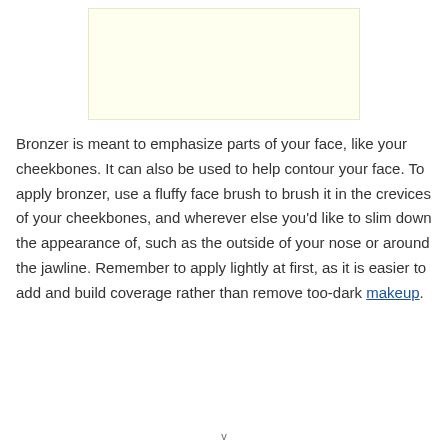[Figure (other): Light yellow advertisement banner placeholder]
Bronzer is meant to emphasize parts of your face, like your cheekbones. It can also be used to help contour your face. To apply bronzer, use a fluffy face brush to brush it in the crevices of your cheekbones, and wherever else you'd like to slim down the appearance of, such as the outside of your nose or around the jawline. Remember to apply lightly at first, as it is easier to add and build coverage rather than remove too-dark makeup.
v